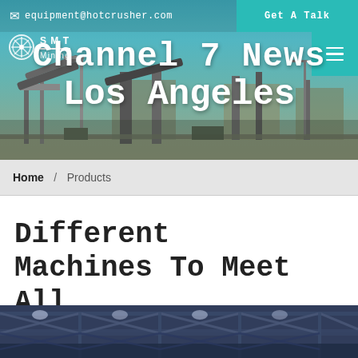equipment@hotcrusher.com | Get A Talk
[Figure (photo): Mining equipment / industrial crusher plant with conveyor belts and industrial machinery against a teal sky background. Overlaid with site header including logo for Channel 7 News Mining, email contact, and navigation button.]
Channel 7 News
Los Angeles
Mining
Home / Products
Different Machines To Meet All Need
[Figure (photo): Interior of an industrial warehouse or factory building showing steel roof trusses and structural framework from below.]